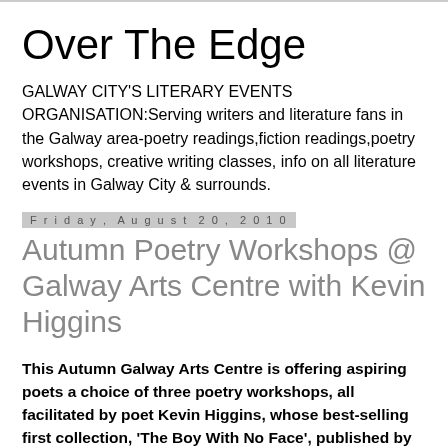Over The Edge
GALWAY CITY'S LITERARY EVENTS ORGANISATION:Serving writers and literature fans in the Galway area-poetry readings,fiction readings,poetry workshops, creative writing classes, info on all literature events in Galway City & surrounds.
Friday, August 20, 2010
Autumn Poetry Workshops @ Galway Arts Centre with Kevin Higgins
This Autumn Galway Arts Centre is offering aspiring poets a choice of three poetry workshops, all facilitated by poet Kevin Higgins, whose best-selling first collection, 'The Boy With No Face', published by Salmon Poetry, was short-listed for the 2006 Strong Award for